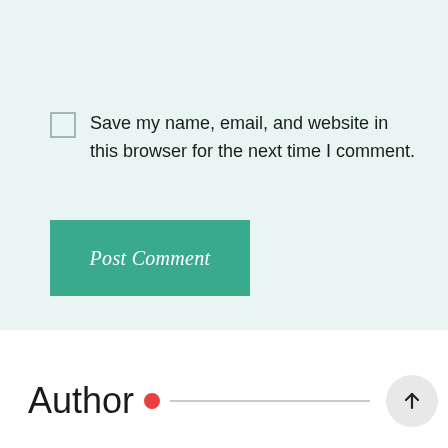Website
Save my name, email, and website in this browser for the next time I comment.
Post Comment
Author